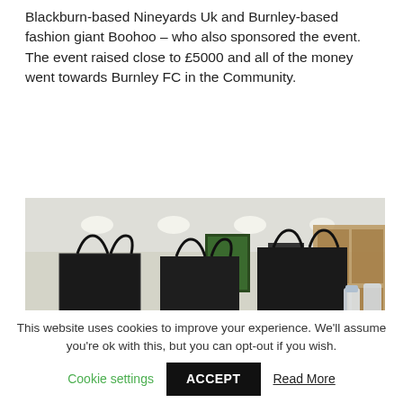Blackburn-based Nineyards Uk and Burnley-based fashion giant Boohoo – who also sponsored the event. The event raised close to £5000 and all of the money went towards Burnley FC in the Community.
[Figure (photo): Photo of three black Boohoo.com branded gift bags on a table in a room, with TRIM ON THE TURF branded banners along the front of the table.]
This website uses cookies to improve your experience. We'll assume you're ok with this, but you can opt-out if you wish.
Cookie settings   ACCEPT   Read More